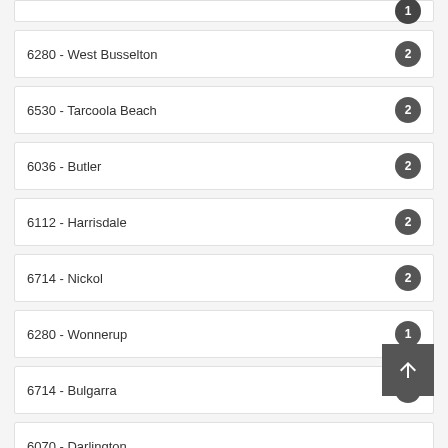6280 - West Busselton
6530 - Tarcoola Beach
6036 - Butler
6112 - Harrisdale
6714 - Nickol
6280 - Wonnerup
6714 - Bulgarra
6070 - Darlington
6030 - Quinns Rocks